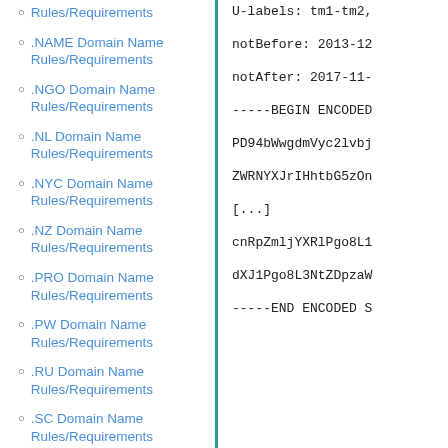Rules/Requirements
.NAME Domain Name Rules/Requirements
.NGO Domain Name Rules/Requirements
.NL Domain Name Rules/Requirements
.NYC Domain Name Rules/Requirements
.NZ Domain Name Rules/Requirements
.PRO Domain Name Rules/Requirements
.PW Domain Name Rules/Requirements
.RU Domain Name Rules/Requirements
.SC Domain Name Rules/Requirements
.SX Domain Name Rules/Requirements
U-labels: tm1-tm2,
notBefore: 2013-12
notAfter: 2017-11-
-----BEGIN ENCODED
PD94bWwgdmVyc2lvbj
ZWRNYXJrIHhtbG5zOn
[...]
cnRpZmljYXRlPgo8L1
dXJ1Pgo8L3NtZDpzaW
-----END ENCODED S